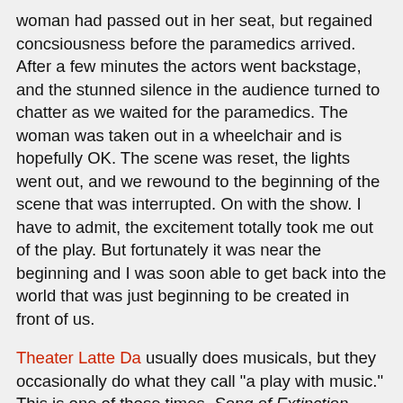woman had passed out in her seat, but regained concsiousness before the paramedics arrived. After a few minutes the actors went backstage, and the stunned silence in the audience turned to chatter as we waited for the paramedics. The woman was taken out in a wheelchair and is hopefully OK. The scene was reset, the lights went out, and we rewound to the beginning of the scene that was interrupted. On with the show. I have to admit, the excitement totally took me out of the play. But fortunately it was near the beginning and I was soon able to get back into the world that was just beginning to be created in front of us.
Theater Latte Da usually does musicals, but they occasionally do what they call "a play with music." This is one of those times. Song of Extinction, directed by Artistic Director Peter Rothstein, is a new play by EM Lewis about science and life and death and relationships and music. Max is a 15-year-old boy (played by high school junior Dan Piering, an impressive actor and musician) whose mother (Carla Noack) is dying of cancer and trying to protect her son as best she can. Max's biologist father (John Middleton) seems to care more about a species of bug he discovered in